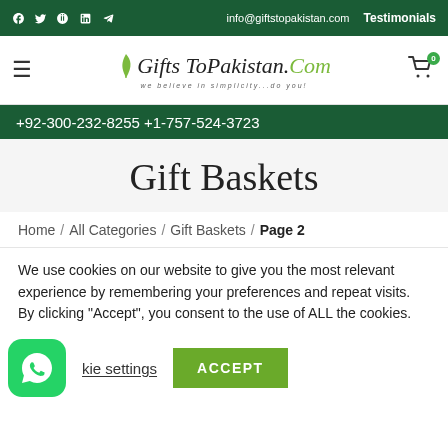f  t  Pinterest  in  Telegram  info@giftstopakistan.com  Testimonials
[Figure (logo): GiftsToPakistan.Com logo with green leaf, italic script text in black and green, tagline 'we believe in simplicity...do you!']
+92-300-232-8255 +1-757-524-3723
Gift Baskets
Home / All Categories / Gift Baskets / Page 2
We use cookies on our website to give you the most relevant experience by remembering your preferences and repeat visits. By clicking "Accept", you consent to the use of ALL the cookies.
Cookie settings   ACCEPT